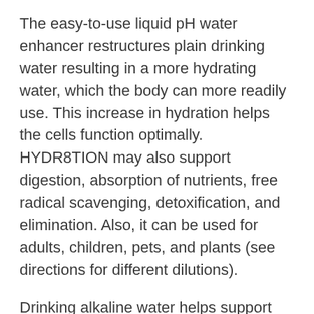The easy-to-use liquid pH water enhancer restructures plain drinking water resulting in a more hydrating water, which the body can more readily use. This increase in hydration helps the cells function optimally. HYDR8TION may also support digestion, absorption of nutrients, free radical scavenging, detoxification, and elimination. Also, it can be used for adults, children, pets, and plants (see directions for different dilutions).
Drinking alkaline water helps support pH balance in the blood as well as in the body. Drinking very acidic liquids such as soft drinks as well as eating only cooked, canned, and